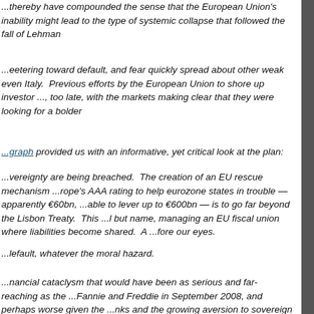...thereby have compounded the sense that the European Union's inability might lead to the type of systemic collapse that followed the fall of Lehman
...eetering toward default, and fear quickly spread about other weak even Italy. Previous efforts by the European Union to shore up investor ..., too late, with the markets making clear that they were looking for a bolder
...graph provided us with an informative, yet critical look at the plan:
...vereignty are being breached. The creation of an EU rescue mechanism ...rope's AAA rating to help eurozone states in trouble — apparently €60bn, ...able to lever up to €600bn — is to go far beyond the Lisbon Treaty. This ...l but name, managing an EU fiscal union where liabilities become shared. A ...fore our eyes.
...lefault, whatever the moral hazard.
...nancial cataclysm that would have been as serious and far-reaching as the ...Fannie and Freddie in September 2008, and perhaps worse given the ...nks and the growing aversion to sovereign debt.